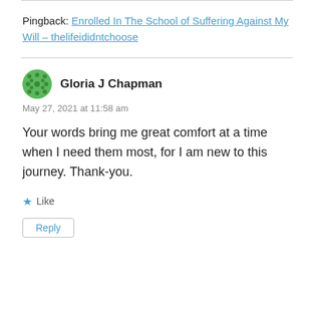Pingback: Enrolled In The School of Suffering Against My Will – thelifeididntchoose
Gloria J Chapman
May 27, 2021 at 11:58 am
Your words bring me great comfort at a time when I need them most, for I am new to this journey. Thank-you.
Like
Reply